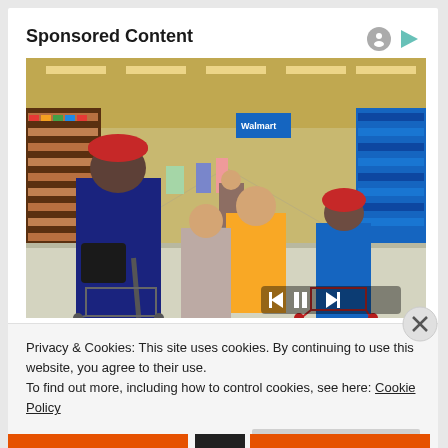Sponsored Content
[Figure (photo): Interior of a retail store (Walmart-style) with shoppers pushing carts down a wide aisle. Several people visible including a woman in a red hat and navy coat, a person in a yellow jacket, and a woman in a blue jacket with a red hat. Store shelves line both sides of the aisle. Media player controls (rewind, pause, fast-forward) are overlaid at the bottom right of the image.]
Privacy & Cookies: This site uses cookies. By continuing to use this website, you agree to their use.
To find out more, including how to control cookies, see here: Cookie Policy
Close and accept